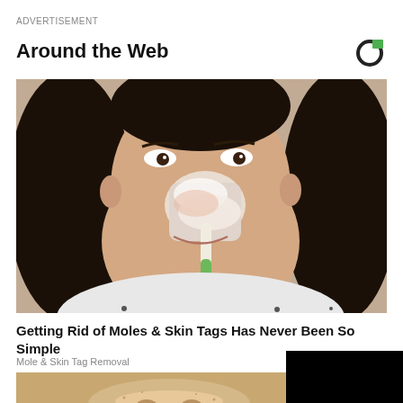ADVERTISEMENT
Around the Web
[Figure (photo): Woman applying white paste to her nose with a toothbrush, skin care/mole removal advertisement image]
Getting Rid of Moles & Skin Tags Has Never Been So Simple
Mole & Skin Tag Removal
[Figure (photo): Close-up of face with skin texture, partially obscured by black overlay rectangle]